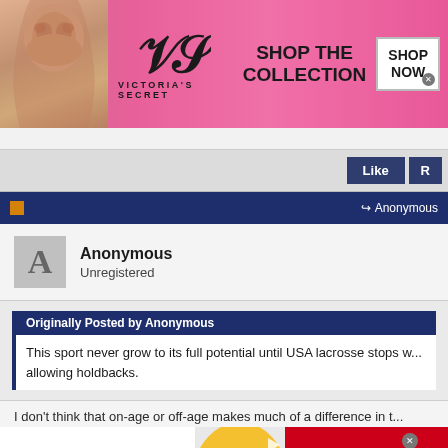[Figure (photo): Victoria's Secret advertisement banner with model, VS logo, SHOP THE COLLECTION text, and SHOP NOW button]
Like | R
Anonymous
Anonymous
Unregistered
Originally Posted by Anonymous
This sport never grow to its full potential until USA lacrosse stops w... allowing holdbacks.
I don't think that on-age or off-age makes much of a difference in t...
[Figure (photo): Walmart Delectables cat treats advertisement banner with cat image and yellow heart shape]